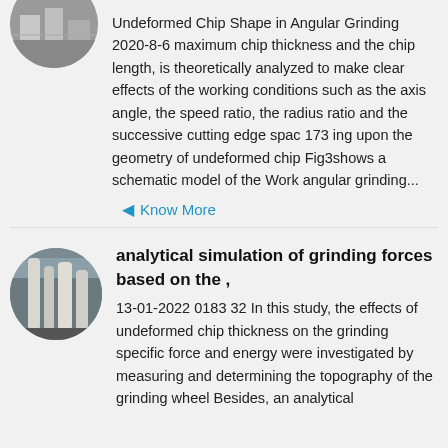[Figure (photo): Oval thumbnail photo of a grinding/industrial machinery setting, partially visible at top]
Undeformed Chip Shape in Angular Grinding 2020-8-6 maximum chip thickness and the chip length, is theoretically analyzed to make clear effects of the working conditions such as the axis angle, the speed ratio, the radius ratio and the successive cutting edge spac 173 ing upon the geometry of undeformed chip Fig3shows a schematic model of the Work angular grinding...
Know More
[Figure (photo): Oval thumbnail photo of industrial grinding or milling equipment inside a factory/warehouse]
analytical simulation of grinding forces based on the ,
13-01-2022 0183 32 In this study, the effects of undeformed chip thickness on the grinding specific force and energy were investigated by measuring and determining the topography of the grinding wheel Besides, an analytical